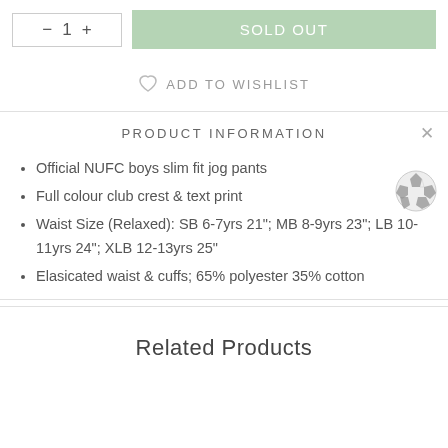- 1 + SOLD OUT
ADD TO WISHLIST
PRODUCT INFORMATION
Official NUFC boys slim fit jog pants
Full colour club crest & text print
Waist Size (Relaxed): SB 6-7yrs 21"; MB 8-9yrs 23"; LB 10-11yrs 24"; XLB 12-13yrs 25"
Elasicated waist & cuffs; 65% polyester 35% cotton
Related Products